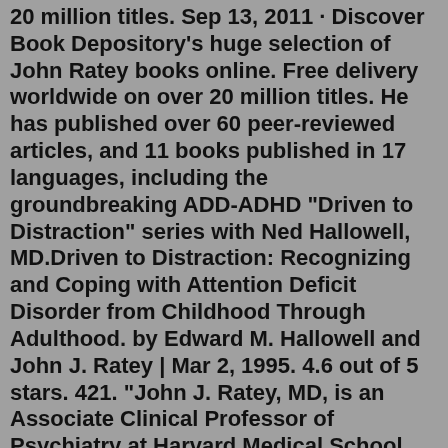20 million titles. Sep 13, 2011 · Discover Book Depository's huge selection of John Ratey books online. Free delivery worldwide on over 20 million titles. He has published over 60 peer-reviewed articles, and 11 books published in 17 languages, including the groundbreaking ADD-ADHD "Driven to Distraction" series with Ned Hallowell, MD.Driven to Distraction: Recognizing and Coping with Attention Deficit Disorder from Childhood Through Adulthood. by Edward M. Hallowell and John J. Ratey | Mar 2, 1995. 4.6 out of 5 stars. 421. "John J. Ratey, MD, is an Associate Clinical Professor of Psychiatry at Harvard Medical School and an internationally recognized expert in Neuropsychiatry. He has published over 60 peer-reviewed articles, and 11 books published in 15 languages, including the groundbreaking ADHD "Driven to Distraction" series with Ned Hallowell, MD.Idea + Facts:What I've Learned - WHY Exercise is so Underrated (Brain Power & Movement Link)https://www.youtube.com/watch?